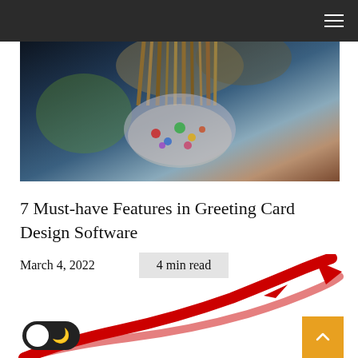[Figure (photo): Paint brushes in a paint-covered cup holder, blurred colorful background]
7 Must-have Features in Greeting Card Design Software
March 4, 2022    4 min read
[Figure (illustration): Red arrow/swoosh illustration curving upward to the right, with an orange scroll-to-top button and a dark mode toggle]